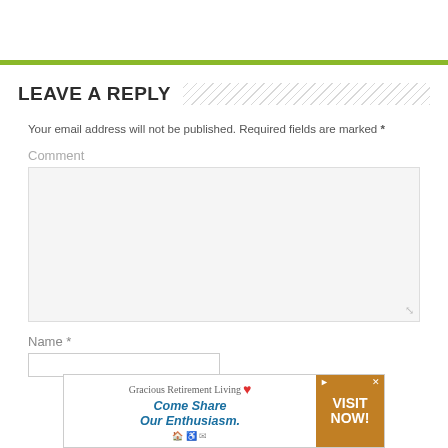LEAVE A REPLY
Your email address will not be published. Required fields are marked *
Comment
Name *
[Figure (infographic): Advertisement banner for Gracious Retirement Living with tagline 'Come Share Our Enthusiasm.' and a 'VISIT NOW!' button on the right side in gold/brown color]